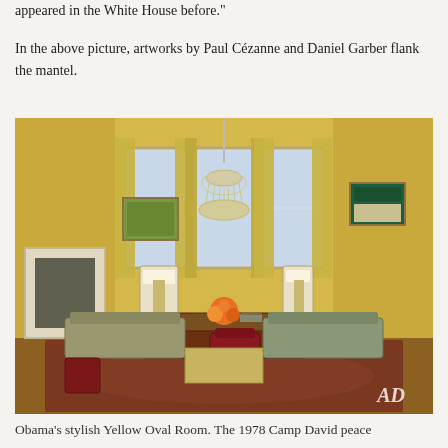appeared in the White House before."
In the above picture, artworks by Paul Cézanne and Daniel Garber flank the mantel.
[Figure (photo): Interior photo of Obama's Yellow Oval Room at the White House, featuring a crystal chandelier, yellow walls, tall windows with gold drapes, elegant furniture including sofas and chairs, a large desk with flowers, artworks on the walls, and an 'AD' watermark in the lower right corner.]
Obama's stylish Yellow Oval Room.  The 1978 Camp David peace